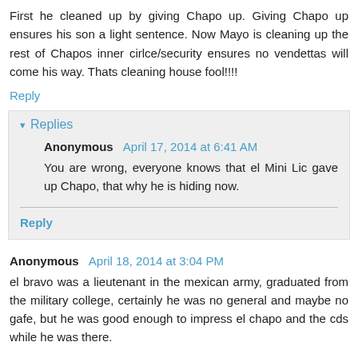First he cleaned up by giving Chapo up. Giving Chapo up ensures his son a light sentence. Now Mayo is cleaning up the rest of Chapos inner cirlce/security ensures no vendettas will come his way. Thats cleaning house fool!!!!
Reply
Replies
Anonymous April 17, 2014 at 6:41 AM
You are wrong, everyone knows that el Mini Lic gave up Chapo, that why he is hiding now.
Reply
Anonymous April 18, 2014 at 3:04 PM
el bravo was a lieutenant in the mexican army, graduated from the military college, certainly he was no general and maybe no gafe, but he was good enough to impress el chapo and the cds while he was there.